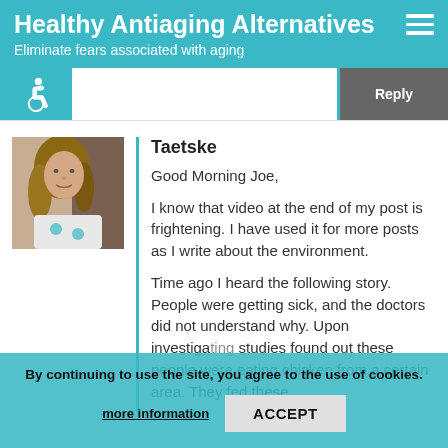Healthy Antiaging Alternatives
Eliminate fears associated with aging
[Figure (illustration): Accessibility icon (wheelchair symbol) in teal box on left; Reply button on right]
[Figure (photo): Profile photo of Taetske, a woman with long hair wearing a white shirt]
Taetske
Good Morning Joe,

I know that video at the end of my post is frightening. I have used it for more posts as I write about the environment.

Time ago I heard the following story. People were getting sick, and the doctors did not understand why. Upon investiga[ting] studies found out these people were eating chicken from a certain area. They fed these
By continuing to use the site, you agree to the use of cookies.
more information   ACCEPT